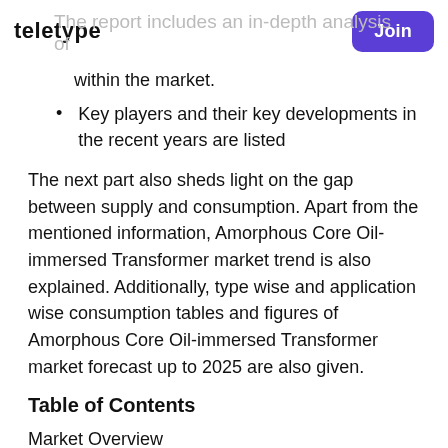teletype | Join
The report includes an in-depth analysis of within the market.
Key players and their key developments in the recent years are listed
The next part also sheds light on the gap between supply and consumption. Apart from the mentioned information, Amorphous Core Oil-immersed Transformer market trend is also explained. Additionally, type wise and application wise consumption tables and figures of Amorphous Core Oil-immersed Transformer market forecast up to 2025 are also given.
Table of Contents
Market Overview
1.1 Amorphous Core Oil-immersed Transformer